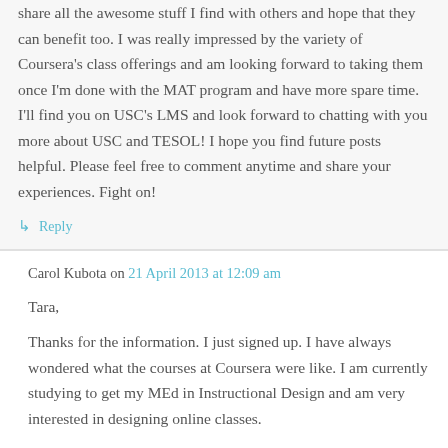share all the awesome stuff I find with others and hope that they can benefit too. I was really impressed by the variety of Coursera's class offerings and am looking forward to taking them once I'm done with the MAT program and have more spare time. I'll find you on USC's LMS and look forward to chatting with you more about USC and TESOL! I hope you find future posts helpful. Please feel free to comment anytime and share your experiences. Fight on!
↳ Reply
Carol Kubota on 21 April 2013 at 12:09 am
Tara,
Thanks for the information. I just signed up. I have always wondered what the courses at Coursera were like. I am currently studying to get my MEd in Instructional Design and am very interested in designing online classes.
↳ Reply